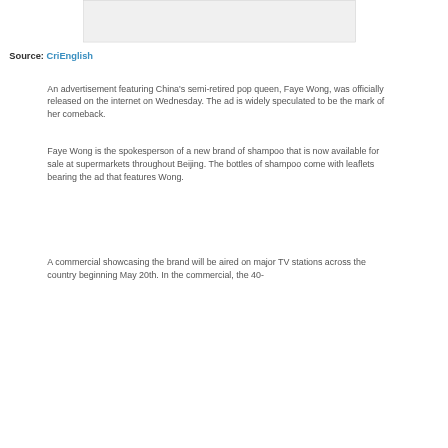[Figure (other): Image placeholder/thumbnail at the top of the page]
Source: CriEnglish
An advertisement featuring China's semi-retired pop queen, Faye Wong, was officially released on the internet on Wednesday. The ad is widely speculated to be the mark of her comeback.
Faye Wong is the spokesperson of a new brand of shampoo that is now available for sale at supermarkets throughout Beijing. The bottles of shampoo come with leaflets bearing the ad that features Wong.
A commercial showcasing the brand will be aired on major TV stations across the country beginning May 20th. In the commercial, the 40-